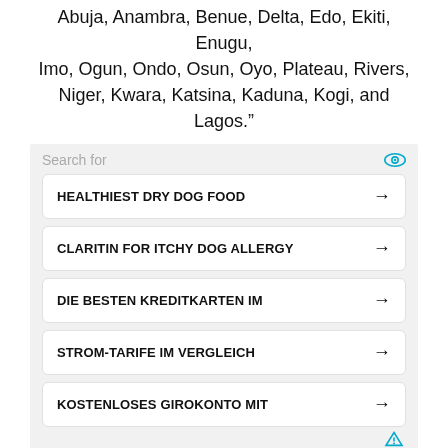Abuja, Anambra, Benue, Delta, Edo, Ekiti, Enugu, Imo, Ogun, Ondo, Osun, Oyo, Plateau, Rivers, Niger, Kwara, Katsina, Kaduna, Kogi, and Lagos.”
[Figure (screenshot): Ad widget: Search for panel with 5 items: HEALTHIEST DRY DOG FOOD, CLARITIN FOR ITCHY DOG ALLERGY, DIE BESTEN KREDITKARTEN IM, STROM-TARIFE IM VERGLEICH, KOSTENLOSES GIROKONTO MIT]
[Figure (screenshot): Ad widget: Search for panel with 2 numbered items: 1 HEALTHIEST DRY DOG FOOD, 2 DIE BESTEN KREDITKARTEN IM]